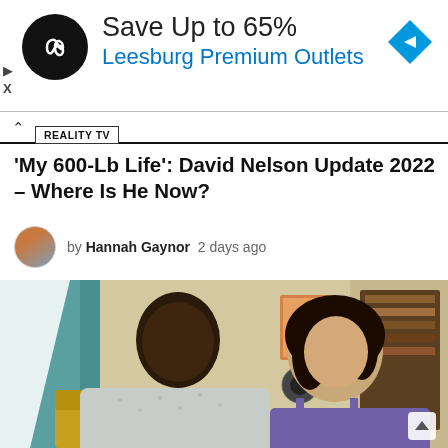[Figure (infographic): Advertisement banner: black circular logo with infinity/loop symbol, text 'Save Up to 65%' in dark and 'Leesburg Premium Outlets' in blue, blue diamond navigation arrow icon on right. Play and close icons on left.]
REALITY TV
'My 600-Lb Life': David Nelson Update 2022 – Where Is He Now?
by Hannah Gaynor  2 days ago
[Figure (photo): A man in a grey patterned button-up shirt and a woman in a purple spaghetti-strap top sitting side by side in a warmly decorated room with teal curtains, bookshelves, and colorful artwork in the background.]